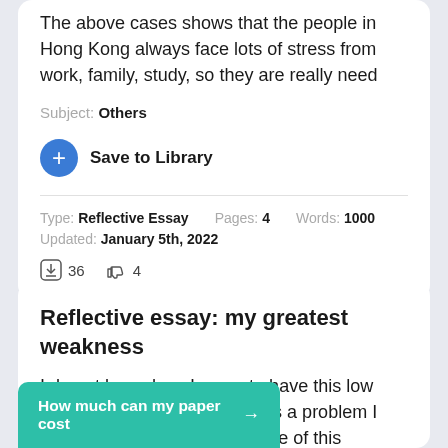The above cases shows that the people in Hong Kong always face lots of stress from work, family, study, so they are really need
Subject: Others
Save to Library
Type: Reflective Essay   Pages: 4   Words: 1000
Updated: January 5th, 2022
36  4
Reflective essay: my greatest weakness
I do not know how I came to have this low self-esteem, but I do know it is a problem I absolutely have to fix. Because of this weakness of mine, I
How much can my paper cost →